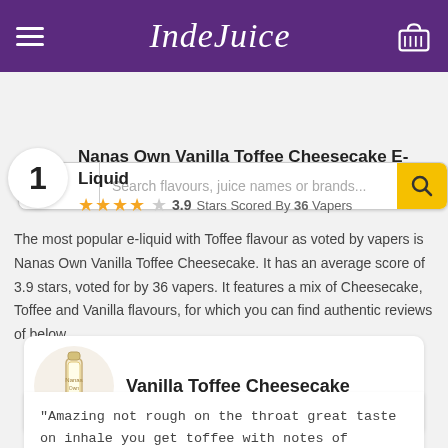IndeJuice
All  Search flavours, juice names or brands...
Nanas Own Vanilla Toffee Cheesecake E-Liquid
3.9 Stars Scored By 36 Vapers
The most popular e-liquid with Toffee flavour as voted by vapers is Nanas Own Vanilla Toffee Cheesecake. It has an average score of 3.9 stars, voted for by 36 vapers. It features a mix of Cheesecake, Toffee and Vanilla flavours, for which you can find authentic reviews of below.
Vanilla Toffee Cheesecake
"Amazing not rough on the throat great taste on inhale you get toffee with notes of vanilla and on exhale a great cheesecake taste I would recommend